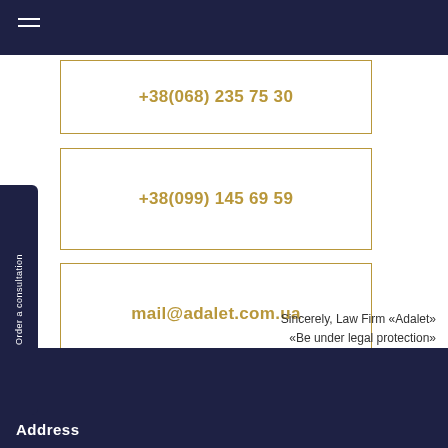+38(068) 235 75 30
+38(099) 145 69 59
mail@adalet.com.ua
Order a consultation
Sincerely, Law Firm «Adalet»
«Be under legal protection»
Address